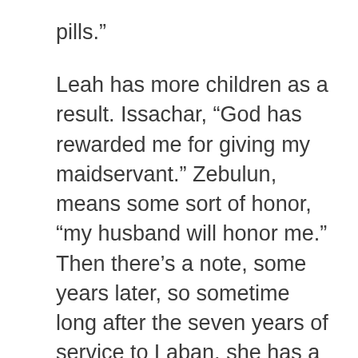pills.”
Leah has more children as a result. Issachar, “God has rewarded me for giving my maidservant.” Zebulun, means some sort of honor, “my husband will honor me.” Then there’s a note, some years later, so sometime long after the seven years of service to Laban, she has a daughter Dinah. Ah, so Leah has six sons, a daughter, the number of perfection, wouldn’t you think? Seven. To make things even worse for Rachel.